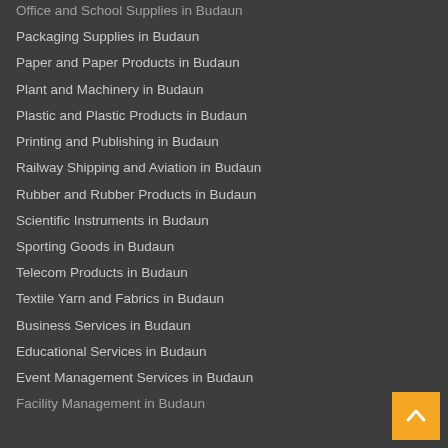Office and School Supplies in Budaun
Packaging Supplies in Budaun
Paper and Paper Products in Budaun
Plant and Machinery in Budaun
Plastic and Plastic Products in Budaun
Printing and Publishing in Budaun
Railway Shipping and Aviation in Budaun
Rubber and Rubber Products in Budaun
Scientific Instruments in Budaun
Sporting Goods in Budaun
Telecom Products in Budaun
Textile Yarn and Fabrics in Budaun
Business Services in Budaun
Educational Services in Budaun
Event Management Services in Budaun
Facility Management in Budaun